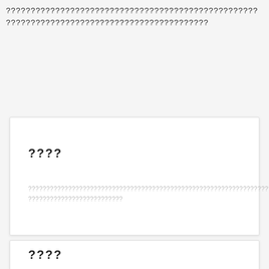?????????????????????????????????;????????????????
??????????????????????????????????????????
????
??????????????????????????????????????????????????????????????????????????????????????????????????????
????